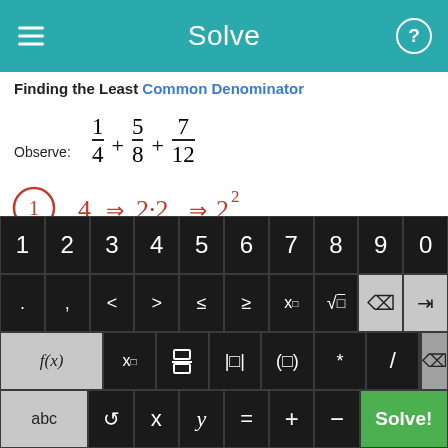Solve
Finding the Least Common Denominator
[Figure (illustration): Handwritten steps showing prime factorization: circled 1, then 4 => 2·2 => 2^2, then 8 => 2·2·2 => 2^3, then partial line for 12]
[Figure (screenshot): Math calculator keyboard with number row 1-0, symbol row with . , < > <= >= x^a sqrt backspace/forward, function row f(x) x_n fraction absolute-value parentheses * / delete, bottom row abc rotate x y = + - Solve!]